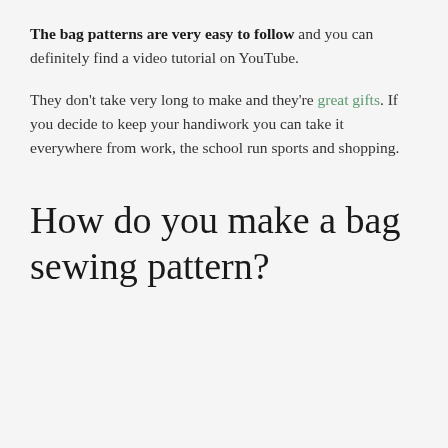The bag patterns are very easy to follow and you can definitely find a video tutorial on YouTube.
They don't take very long to make and they're great gifts. If you decide to keep your handiwork you can take it everywhere from work, the school run sports and shopping.
How do you make a bag sewing pattern?